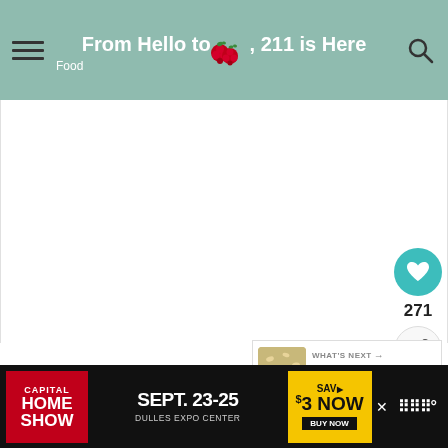From Hello to 211 is Here | Food
[Figure (screenshot): White blank content area]
271
WHAT'S NEXT → Hot Spinach and Artichok...
Table of Contents
[ HIDE ]
[Figure (infographic): Capital Home Show advertisement: SEPT. 23-25, DULLES EXPO CENTER, SAVE $3 NOW BUY NOW]